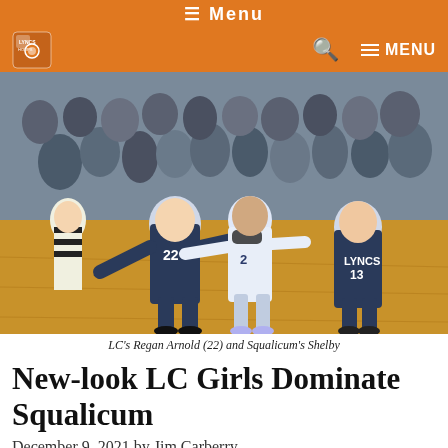≡ Menu
🔍 ≡ MENU
[Figure (photo): Basketball game action photo: players boxing out for a rebound. LC players in dark navy jerseys (#22) and Squalicum player #2 in white jersey with mask are positioned on a hardwood court with crowded bleachers in background. A referee in striped shirt is visible on the left.]
LC's Regan Arnold (22) and Squalicum's Shelby
New-look LC Girls Dominate Squalicum
December 9, 2021 by Jim Carberry